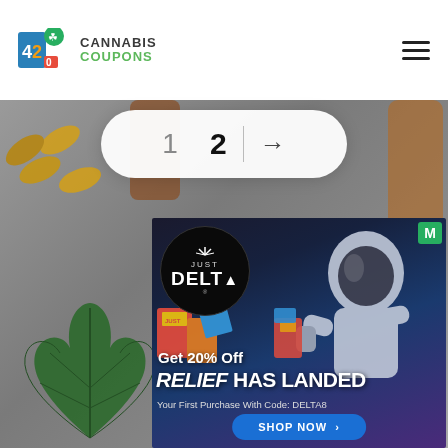[Figure (logo): 420 Cannabis Coupons logo with colorful 420 icon and text, plus hamburger menu icon on right]
[Figure (other): Pagination control showing page 1 and bold page 2 with a right arrow, white pill-shaped button on gray background]
[Figure (infographic): Just Delta advertisement banner: astronaut holding Just Delta products in space background. Text: Get 20% Off, RELIEF HAS LANDED, Your First Purchase With Code: DELTA8. Blue SHOP NOW button. M badge top right.]